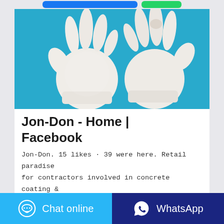[Figure (photo): Two white latex/cotton gloves displayed on a teal/cyan blue background. The gloves are laid flat, slightly overlapping.]
Jon-Don - Home | Facebook
Jon-Don. 15 likes · 39 were here. Retail paradise for contractors involved in concrete coating & polishing, carpet cleaning, restoration, janitorial,
Chat online
WhatsApp